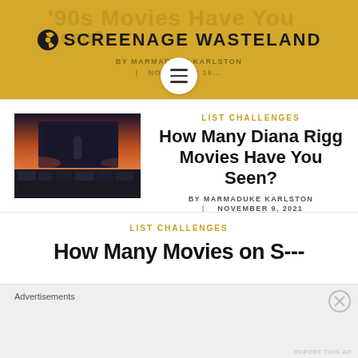'90s Movies Have You | SCREENAGE WASTELAND | BY MARMADUKE KARLSTON | NOVEMBER 16...
LIST CHALLENGES
How Many Diana Rigg Movies Have You Seen?
BY MARMADUKE KARLSTON | NOVEMBER 9, 2021
LIST CHALLENGES
How Many Movies on S...
Advertisements